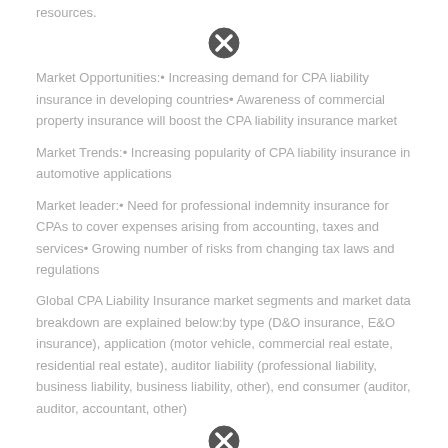resources.
[Figure (other): Close/error icon (circle with X)]
Market Opportunities:• Increasing demand for CPA liability insurance in developing countries• Awareness of commercial property insurance will boost the CPA liability insurance market
Market Trends:• Increasing popularity of CPA liability insurance in automotive applications
Market leader:• Need for professional indemnity insurance for CPAs to cover expenses arising from accounting, taxes and services• Growing number of risks from changing tax laws and regulations
Global CPA Liability Insurance market segments and market data breakdown are explained below:by type (D&O insurance, E&O insurance), application (motor vehicle, commercial real estate, residential real estate), auditor liability (professional liability, business liability, business liability, other), end consumer (auditor, auditor, accountant, other)
[Figure (other): Close/error icon (circle with X)]